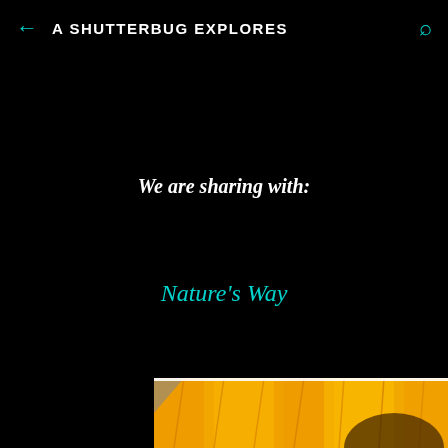A SHUTTERBUG EXPLORES
We are sharing with:
Nature's Way
[Figure (photo): Close-up photograph of a yellow sunflower, partially visible at the bottom of the page]